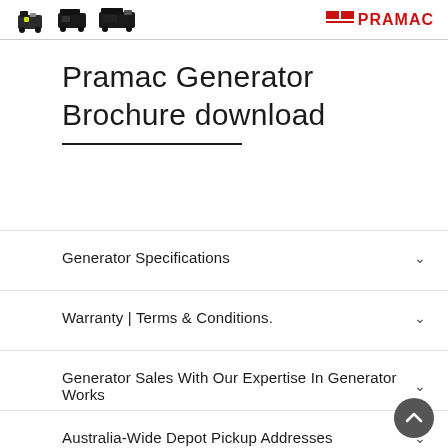[Figure (logo): Pramac brand logo with red text and icon in top right corner, with product images (generators) on the left side of the header bar]
Pramac Generator Brochure download
Generator Specifications
Warranty | Terms & Conditions.
Generator Sales With Our Expertise In Generator Works
Australia-Wide Depot Pickup Addresses